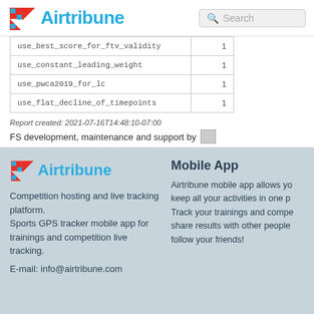Airtribune
|  |  |
| --- | --- |
| use_best_score_for_ftv_validity | 1 |
| use_constant_leading_weight | 1 |
| use_pwca2019_for_lc | 1 |
| use_flat_decline_of_timepoints | 1 |
Report created: 2021-07-16T14:48:10-07:00
FS development, maintenance and support by [image]
[Figure (logo): Airtribune logo in footer]
Competition hosting and live tracking platform.
Sports GPS tracker mobile app for trainings and competition live tracking.

E-mail: info@airtribune.com
Mobile App
Airtribune mobile app allows you to keep all your activities in one place. Track your trainings and competitions, share results with other people and follow your friends!